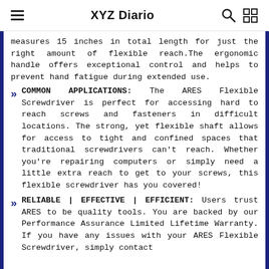XYZ Diario
measures 15 inches in total length for just the right amount of flexible reach.The ergonomic handle offers exceptional control and helps to prevent hand fatigue during extended use.
COMMON APPLICATIONS: The ARES Flexible Screwdriver is perfect for accessing hard to reach screws and fasteners in difficult locations. The strong, yet flexible shaft allows for access to tight and confined spaces that traditional screwdrivers can't reach. Whether you're repairing computers or simply need a little extra reach to get to your screws, this flexible screwdriver has you covered!
RELIABLE | EFFECTIVE | EFFICIENT: Users trust ARES to be quality tools. You are backed by our Performance Assurance Limited Lifetime Warranty. If you have any issues with your ARES Flexible Screwdriver, simply contact